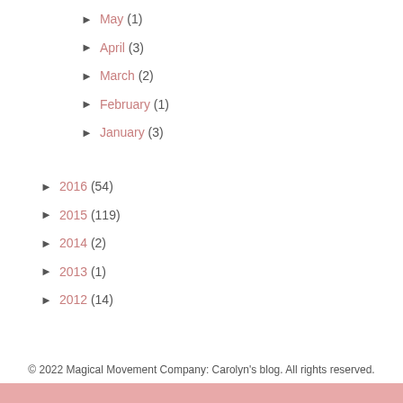► May (1)
► April (3)
► March (2)
► February (1)
► January (3)
► 2016 (54)
► 2015 (119)
► 2014 (2)
► 2013 (1)
► 2012 (14)
© 2022 Magical Movement Company: Carolyn's blog. All rights reserved.